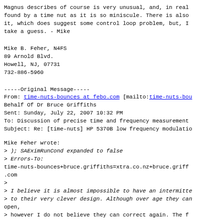Magnus describes of course is very unusual, and, in real found by a time nut as it is so miniscule. There is also it, which does suggest some control loop problem, but, I take a guess. - Mike
Mike B. Feher, N4FS
89 Arnold Blvd.
Howell, NJ, 07731
732-886-5960
-----Original Message-----
From: time-nuts-bounces at febo.com [mailto:time-nuts-bou
Behalf Of Dr Bruce Griffiths
Sent: Sunday, July 22, 2007 10:32 PM
To: Discussion of precise time and frequency measurement
Subject: Re: [time-nuts] HP 5370B low frequency modulatio
Mike Feher wrote:
> ); SAEximRunCond expanded to false
> Errors-To:
time-nuts-bounces+bruce.griffiths=xtra.co.nz+bruce.griff
.com
>
> I believe it is almost impossible to have an intermitte
> to their very clever design. Although over age they can open,
> however I do not believe they can correct again. The f